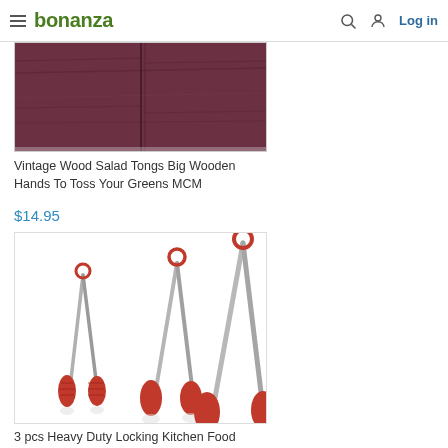bonanza  Log in
[Figure (photo): Partial product image showing vintage wood salad tongs with dark reddish-brown wooden surface visible]
Vintage Wood Salad Tongs Big Wooden Hands To Toss Your Greens MCM
$14.95
[Figure (photo): Three red-handled stainless steel kitchen tongs of different sizes arranged side by side, with red silicone grips at the ends and red ring handles at the top]
3 pcs Heavy Duty Locking Kitchen Food